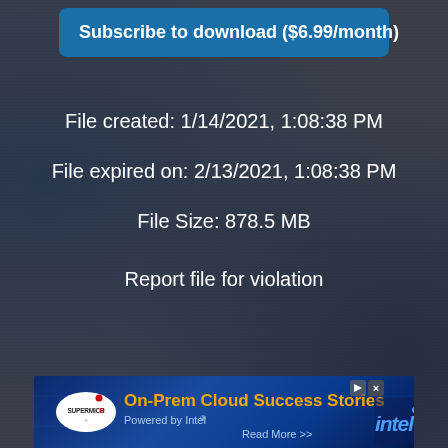Subscribe to download ($6.99/month)
File created: 1/14/2021, 1:08:38 PM
File expired on: 2/13/2021, 1:08:38 PM
File Size: 878.5 MB
Report file for violation
[Figure (infographic): Advertisement banner for Supermicro On-Prem Cloud Success Stories powered by Intel with Read More button]